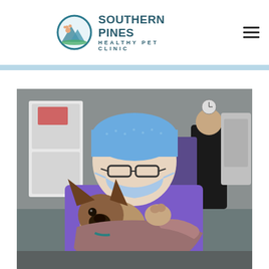Southern Pines Healthy Pet Clinic
[Figure (logo): Southern Pines Healthy Pet Clinic logo with circular icon showing a dog and mountains]
[Figure (photo): A veterinary staff member wearing blue scrubs, blue surgical cap, and a blue face mask holds a German Shepherd puppy wrapped in a mauve/burgundy towel in a clinical setting. Another staff member is visible in the background at a work station.]